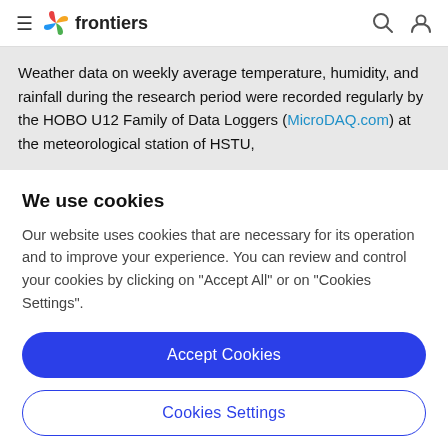frontiers
Weather data on weekly average temperature, humidity, and rainfall during the research period were recorded regularly by the HOBO U12 Family of Data Loggers (MicroDAQ.com) at the meteorological station of HSTU,
We use cookies
Our website uses cookies that are necessary for its operation and to improve your experience. You can review and control your cookies by clicking on "Accept All" or on "Cookies Settings".
Accept Cookies
Cookies Settings